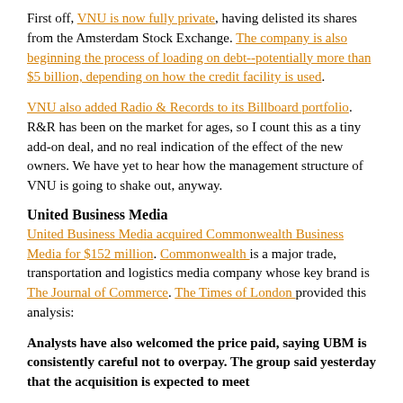First off, VNU is now fully private, having delisted its shares from the Amsterdam Stock Exchange. The company is also beginning the process of loading on debt--potentially more than $5 billion, depending on how the credit facility is used.
VNU also added Radio & Records to its Billboard portfolio. R&R has been on the market for ages, so I count this as a tiny add-on deal, and no real indication of the effect of the new owners. We have yet to hear how the management structure of VNU is going to shake out, anyway.
United Business Media
United Business Media acquired Commonwealth Business Media for $152 million. Commonwealth is a major trade, transportation and logistics media company whose key brand is The Journal of Commerce. The Times of London provided this analysis:
Analysts have also welcomed the price paid, saying UBM is consistently careful not to overpay. The group said yesterday that the acquisition is expected to meet